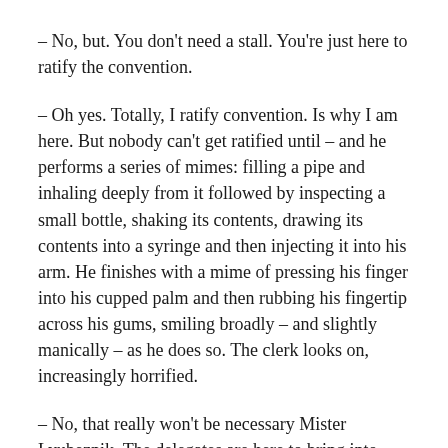– No, but. You don't need a stall. You're just here to ratify the convention.
– Oh yes. Totally, I ratify convention. Is why I am here. But nobody can't get ratified until – and he performs a series of mimes: filling a pipe and inhaling deeply from it followed by inspecting a small bottle, shaking its contents, drawing its contents into a syringe and then injecting it into his arm. He finishes with a mime of pressing his finger into his cupped palm and then rubbing his fingertip across his gums, smiling broadly – and slightly manically – as he does so. The clerk looks on, increasingly horrified.
– No, that really won't be necessary Mister Lyubeznik. The delegates are here to bring into